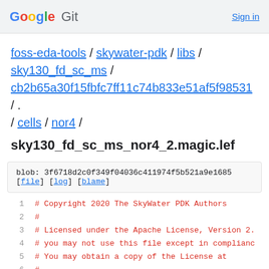Google Git  Sign in
foss-eda-tools / skywater-pdk / libs / sky130_fd_sc_ms / cb2b65a30f15fbfc7ff11c74b833e51af5f98531 / . / cells / nor4 /
sky130_fd_sc_ms_nor4_2.magic.lef
blob: 3f6718d2c0f349f04036c411974f5b521a9e1685
[file] [log] [blame]
1  # Copyright 2020 The SkyWater PDK Authors
2  #
3  # Licensed under the Apache License, Version 2.0
4  # you may not use this file except in compliance
5  # You may obtain a copy of the License at
6  #
7  #      https://www.apache.org/licenses/LICENSE-2